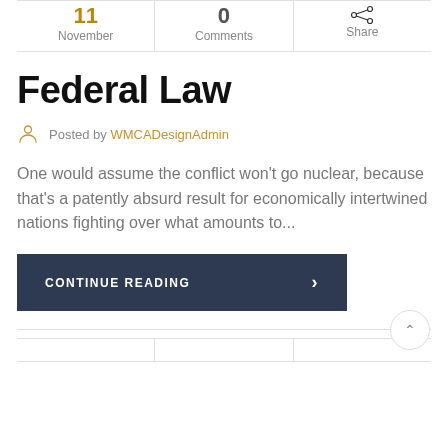[Figure (other): Top bar with three cells: '11 November', '0 Comments', and a share icon with label 'Share']
Federal Law
Posted by WMCADesignAdmin
One would assume the conflict won't go nuclear, because that's a patently absurd result for economically intertwined nations fighting over what amounts to...
CONTINUE READING